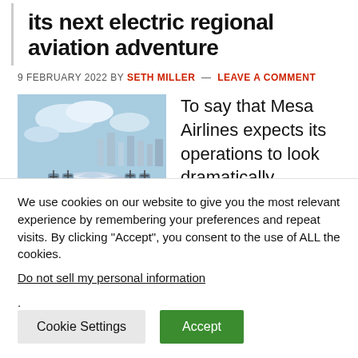its next electric regional aviation adventure
9 FEBRUARY 2022 BY SETH MILLER — LEAVE A COMMENT
[Figure (photo): Electric aircraft (seaplane/flying boat style) flying low over water with city skyline in background, viewed from front]
To say that Mesa Airlines expects its operations to look dramatically different at the end of this decade would be a
We use cookies on our website to give you the most relevant experience by remembering your preferences and repeat visits. By clicking "Accept", you consent to the use of ALL the cookies.
Do not sell my personal information.